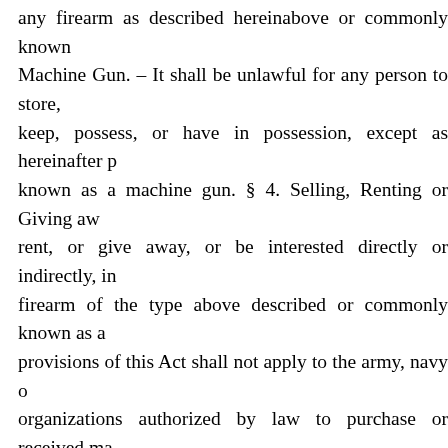any firearm as described hereinabove or commonly known as a Machine Gun. – It shall be unlawful for any person to store, keep, possess, or have in possession, except as hereinafter p known as a machine gun. § 4. Selling, Renting or Giving aw rent, or give away, or be interested directly or indirectly, in firearm of the type above described or commonly known as a provisions of this Act shall not apply to the army, navy o organizations authorized by law to purchase or received ma members of such corps. National Guard and organizations machine guns, and, Provided, further, That any peace office Constable, member of the Highway patrol, railway policeme prison, penitentiary, workhouse, county jail, city jail, or oth crime, or held as witnesses in criminal cases, or persons on d while transporting direct to any police department, military o use a machine gun, may possess machine guns when require this Act be construed to apply to machine guns kept for disp Within thirty days after the passage of this Act every person